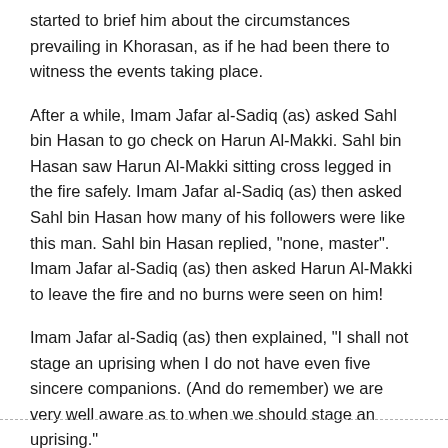started to brief him about the circumstances prevailing in Khorasan, as if he had been there to witness the events taking place.
After a while, Imam Jafar al-Sadiq (as) asked Sahl bin Hasan to go check on Harun Al-Makki. Sahl bin Hasan saw Harun Al-Makki sitting cross legged in the fire safely. Imam Jafar al-Sadiq (as) then asked Sahl bin Hasan how many of his followers were like this man. Sahl bin Hasan replied, "none, master". Imam Jafar al-Sadiq (as) then asked Harun Al-Makki to leave the fire and no burns were seen on him!
Imam Jafar al-Sadiq (as) then explained, "I shall not stage an uprising when I do not have even five sincere companions. (And do remember) we are very well aware as to when we should stage an uprising."